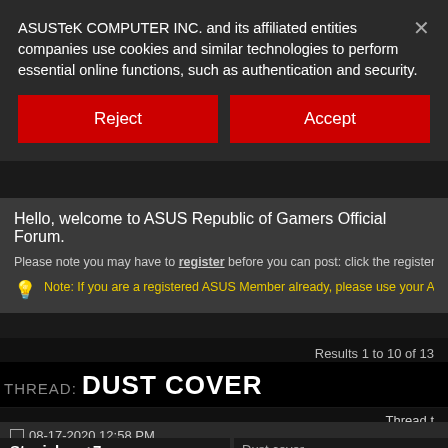ASUSTeK COMPUTER INC. and its affiliated entities companies use cookies and similar technologies to perform essential online functions, such as authentication and security.
Reject
Accept
Hello, welcome to ASUS Republic of Gamers Official Forum.
Please note you may have to register before you can post: click the register link ab messages, select the forum that you want to visit from the selection below.
Note: If you are a registered ASUS Member already, please use your ASUS Me proceed the login.
Results 1 to 10 of 13
THREAD: DUST COVER
Thread t
08-17-2020 12:58 PM
Stanislav_+7 •
Dust cover